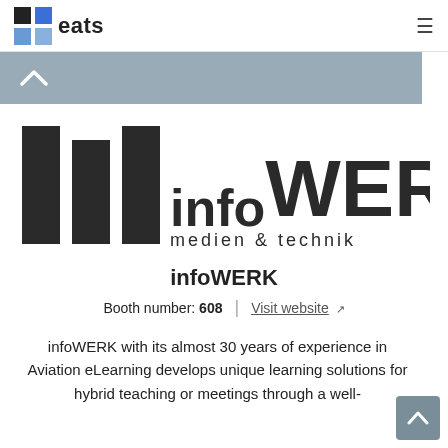eats
[Figure (logo): infoWERK medien & technik logo with three vertical bars and three small squares]
infoWERK
Booth number: 608   |   Visit website
infoWERK with its almost 30 years of experience in Aviation eLearning develops unique learning solutions for hybrid teaching or meetings through a well-